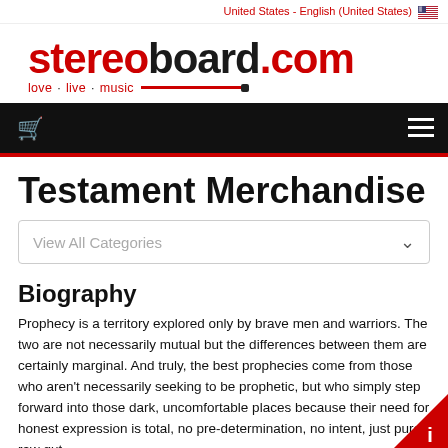United States - English (United States)
[Figure (logo): Stereoboard.com logo with tagline 'love · live · music' and decorative line]
[Figure (screenshot): Black navigation bar with red shopping cart icon on left and hamburger menu icon on right, with red bottom border]
Testament Merchandise
View All Categories
Biography
Prophecy is a territory explored only by brave men and warriors. The two are not necessarily mutual but the differences between them are certainly marginal. And truly, the best prophecies come from those who aren't necessarily seeking to be prophetic, but who simply step forward into those dark, uncomfortable places because their need for honest expression is total, no pre-determination, no intent, just pure, raw gut